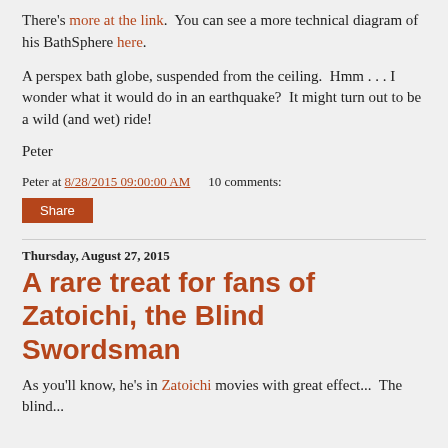There's more at the link.  You can see a more technical diagram of his BathSphere here.
A perspex bath globe, suspended from the ceiling.  Hmm . . . I wonder what it would do in an earthquake?  It might turn out to be a wild (and wet) ride!
Peter
Peter at 8/28/2015 09:00:00 AM   10 comments:
Share
Thursday, August 27, 2015
A rare treat for fans of Zatoichi, the Blind Swordsman
As you'll know, he's in Zatoichi movies with great effect...  The blind...